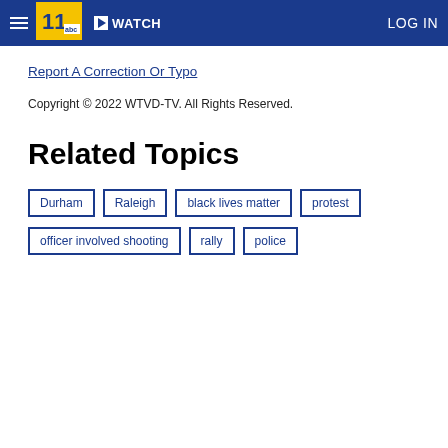≡  11 abc  ▶ WATCH  LOG IN
Report A Correction Or Typo
Copyright © 2022 WTVD-TV. All Rights Reserved.
Related Topics
Durham
Raleigh
black lives matter
protest
officer involved shooting
rally
police